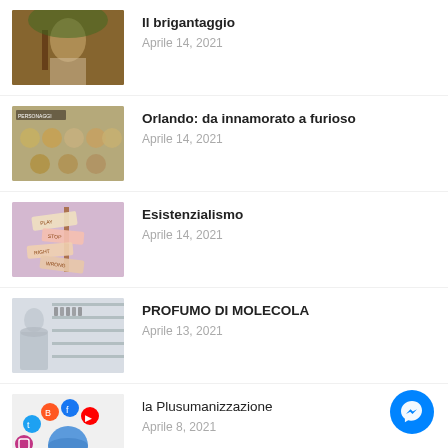Il brigantaggio
Aprile 14, 2021
Orlando: da innamorato a furioso
Aprile 14, 2021
Esistenzialismo
Aprile 14, 2021
PROFUMO DI MOLECOLA
Aprile 13, 2021
la Plusumanizzazione
Aprile 8, 2021